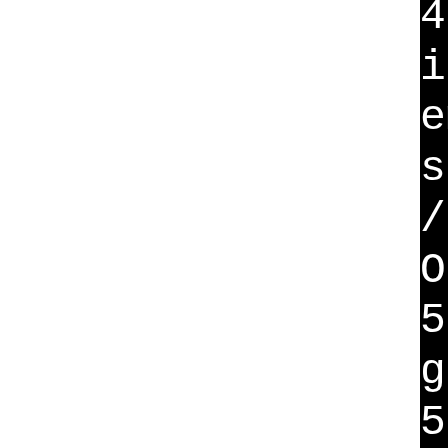4.0 /usr/lib/libKF5AKOna... ib/libKF5IconThemes.so.5.9... emModels.so.5.94.0 /usr/li... s.so.5.94.0 /usr/lib/libKF... /usr/lib/libKF5Auth.so.5.9... OGui.so.5.94.0 /usr/lib/li... 5.94.0 /usr/lib/libX11.so... gets.so.5.94.0 /usr/lib/li... 5.94.0 /usr/lib/libKF5Gran... usr/lib/libGrantlee_Templa... b/libKF5IMAP.so.5.20.1 /us... 5.20.1 /usr/lib/libKF5Code... b/libKF5KIOCore.so.5.94.0... e.so.5.94.0 /usr/lib/libKF... lib/libQt5Xml.so.5.15.4 /u... re.so.5.94.0 /usr/lib/libC... 4 /usr/lib/libKF5AuthCore... bKF5CoreAddons.so.5.94.0 /... o.5.15.4 /usr/lib/libQt5Ne... lib/libQt5Widgets.so.5.15... so.5.15.4 /usr/lib/libQt5C... [63/63] /usr/bin/cmake -E... bin/libKF5IncidenceEditor... ncidenceEditor.so.5 bin/li...